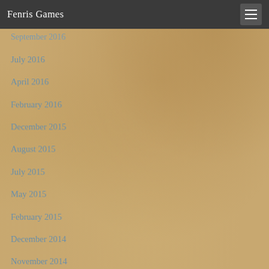Fenris Games
September 2016
July 2016
April 2016
February 2016
December 2015
August 2015
July 2015
May 2015
February 2015
December 2014
November 2014
October 2014